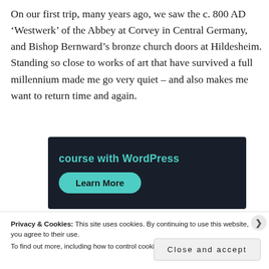On our first trip, many years ago, we saw the c. 800 AD ‘Westwerk’ of the Abbey at Corvey in Central Germany, and Bishop Bernward’s bronze church doors at Hildesheim. Standing so close to works of art that have survived a full millennium made me go very quiet – and also makes me want to return time and again.
[Figure (screenshot): Dark navy banner advertisement showing 'course with WordPress' in teal text with a teal rounded 'Learn More' button]
Privacy & Cookies: This site uses cookies. By continuing to use this website, you agree to their use.
To find out more, including how to control cookies, see here: Cookie Policy
Close and accept